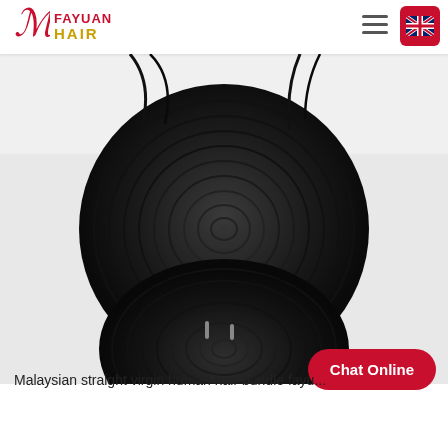FAYUAN HAIR
[Figure (photo): Two rolled bundles of black Malaysian straight virgin human hair, coiled and stacked on top of each other against a white background. The hair bundles are tightly wound in circular coils showing the weft texture.]
Malaysian straight virgin human hair bundle fayu...
Chat Online